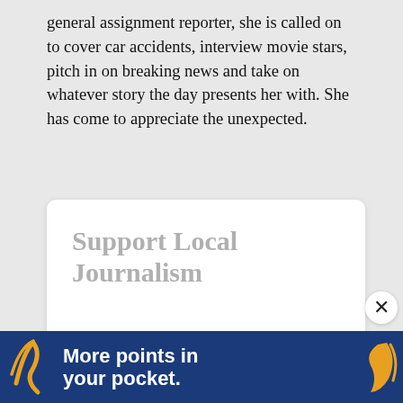general assignment reporter, she is called on to cover car accidents, interview movie stars, pitch in on breaking news and take on whatever story the day presents her with. She has come to appreciate the unexpected.
[Figure (infographic): Support Local Journalism donation widget with white card, showing 'Support Local Journalism' heading in light gray, and two tabs at the bottom: 'One-Time' (pink/selected) and 'Monthly' (white/unselected).]
[Figure (infographic): Advertisement banner with dark blue background, orange decorative icons on left and right, and white bold text reading 'More points in your pocket.']